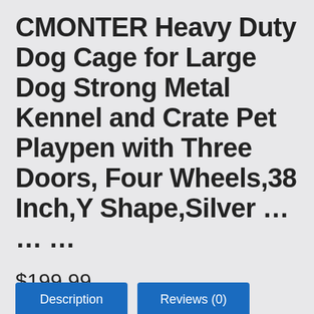CMONTER Heavy Duty Dog Cage for Large Dog Strong Metal Kennel and Crate Pet Playpen with Three Doors, Four Wheels,38 Inch,Y Shape,Silver … … …
$199.99
BUY NOW
Description
Reviews (0)